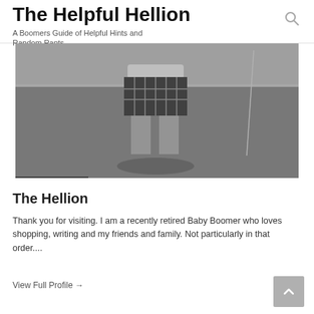The Helpful Hellion
A Boomers Guide of Helpful Hints and Random Rants
[Figure (photo): Black and white photograph of a child in plaid shorts standing outdoors on a lawn, with a street visible in the background. A hamburger menu overlay is shown in the lower left corner.]
The Hellion
Thank you for visiting. I am a recently retired Baby Boomer who loves shopping, writing and my friends and family. Not particularly in that order....
View Full Profile →